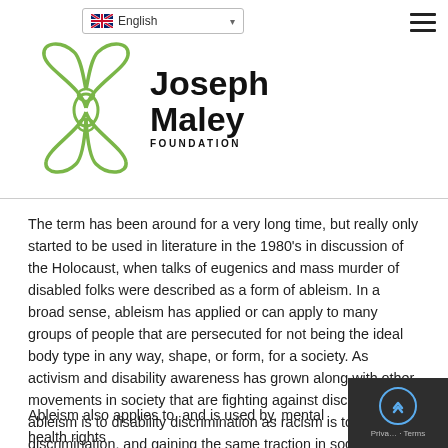English | Joseph Maley Foundation
The term has been around for a very long time, but really only started to be used in literature in the 1980's in discussion of the Holocaust, when talks of eugenics and mass murder of disabled folks were described as a form of ableism. In a broad sense, ableism has applied or can apply to many groups of people that are persecuted for not being the ideal body type in any way, shape, or form, for a society. As activism and disability awareness has grown along with other movements in society that are fighting against discrimination, ableism is to disability discrimination as racism is to racial discrimination, and gaining the same traction in society as sexism, homophobia, transphobia, anti-semitism, and other causes where groups of people are treated as less than equal.
Ableism also applies to, and is used by, mental health rights